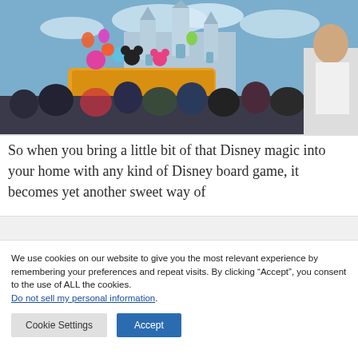[Figure (photo): A crowded Disney park scene with a parade float featuring Mickey and Minnie Mouse characters, Cinderella's castle in the background, and a large crowd of visitors.]
So when you bring a little bit of that Disney magic into your home with any kind of Disney board game, it becomes yet another sweet way of
We use cookies on our website to give you the most relevant experience by remembering your preferences and repeat visits. By clicking “Accept”, you consent to the use of ALL the cookies. Do not sell my personal information.